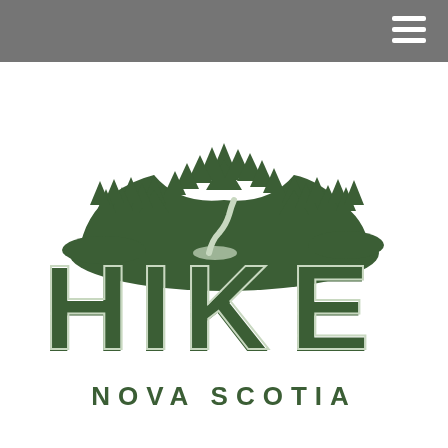Navigation header bar with hamburger menu
[Figure (logo): Hike Nova Scotia logo: a green illustrated hill with pine trees and a winding path on top, above large bold green letters spelling HIKE, with NOVA SCOTIA in spaced green capitals below]